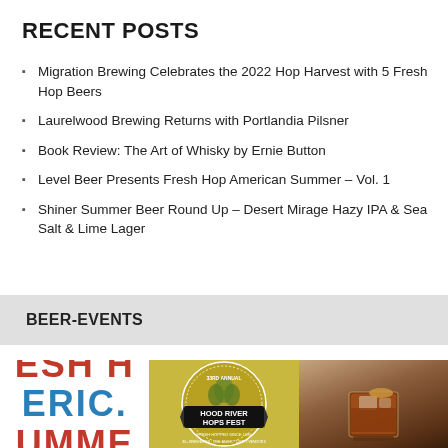RECENT POSTS
Migration Brewing Celebrates the 2022 Hop Harvest with 5 Fresh Hop Beers
Laurelwood Brewing Returns with Portlandia Pilsner
Book Review: The Art of Whisky by Ernie Button
Level Beer Presents Fresh Hop American Summer – Vol. 1
Shiner Summer Beer Round Up – Desert Mirage Hazy IPA & Sea Salt & Lime Lager
BEER-EVENTS
[Figure (photo): Fresh Hop American Summer text poster with red and blue lettering]
[Figure (photo): Hood River Hops Fest circular badge/poster on yellow-green background with hop illustration]
[Figure (photo): A glass of dark amber whisky on the rocks in a dimly lit bar setting]